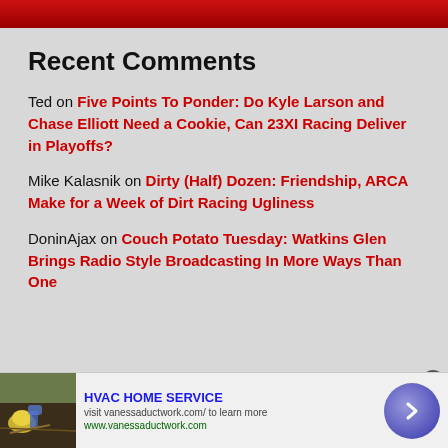Recent Comments
Ted on Five Points To Ponder: Do Kyle Larson and Chase Elliott Need a Cookie, Can 23XI Racing Deliver in Playoffs?
Mike Kalasnik on Dirty (Half) Dozen: Friendship, ARCA Make for a Week of Dirt Racing Ugliness
DoninAjax on Couch Potato Tuesday: Watkins Glen Brings Radio Style Broadcasting In More Ways Than One
[Figure (infographic): Advertisement banner for HVAC Home Service with gardening image, title, description text, and navigation arrow button]